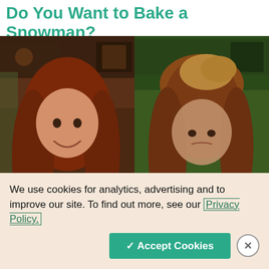Do You Want to Bake a Snowman?
[Figure (photo): Two side-by-side photos of a red-haired woman holding a baking tray with snowman cookies. Left photo: woman smiling happily showing a decorated snowman cookie on the tray. Right photo: woman looking down with a disappointed expression at a misshapen snowman cookie on the tray.]
We use cookies for analytics, advertising and to improve our site. To find out more, see our Privacy Policy.
✓ Accept Cookies